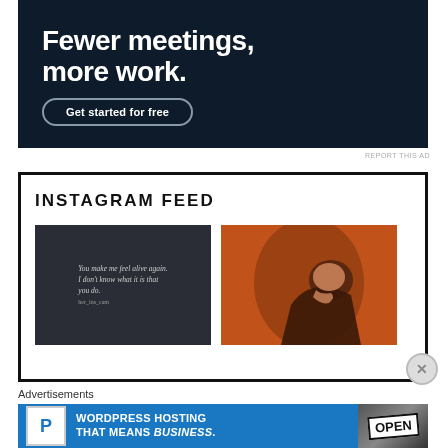[Figure (photo): Dark navy advertisement banner showing text 'Fewer meetings, more work.' with a 'Get started for free' button in rounded border]
REPORT THIS AD
INSTAGRAM FEED
[Figure (photo): Dark moody Instagram post with italic quote text: 'You make me feel alive again. I don't know what it is that you do.']
[Figure (photo): Warm orange-toned Instagram photo of a woman resting her head on her hand, warmly lit]
Advertisements
[Figure (photo): Blue banner ad for WordPress hosting: large P logo, text 'WORDPRESS HOSTING THAT MEANS BUSINESS.' with OPEN sign photo on right]